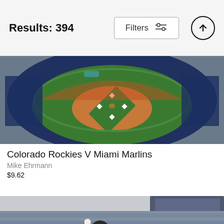Results: 394
[Figure (photo): Aerial view of baseball stadium packed with fans, green diamond field visible from above — Colorado Rockies V Miami Marlins]
Colorado Rockies V Miami Marlins
Mike Ehrmann
$9.62
[Figure (photo): Baseball batter in Pittsburgh Pirates black uniform (#40 Walker) swinging at a pitch, ball in the air, catcher with mitt visible at right, crowd in background]